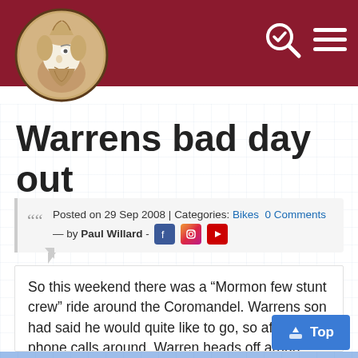[Figure (logo): Bearded man face illustration in a circle with tan/beige background, dark outline, white hair]
[Figure (illustration): Search icon with checkmark and hamburger menu icon in white on dark red header bar]
Warrens bad day out
Posted on 29 Sep 2008 | Categories: Bikes  0 Comments — by Paul Willard - [Facebook] [Instagram] [YouTube]
So this weekend there was a “Mormon few stunt crew” ride around the Coromandel. Warrens son had said he would quite like to go, so after some phone calls around, Warren heads off around coro with the few, and his son.